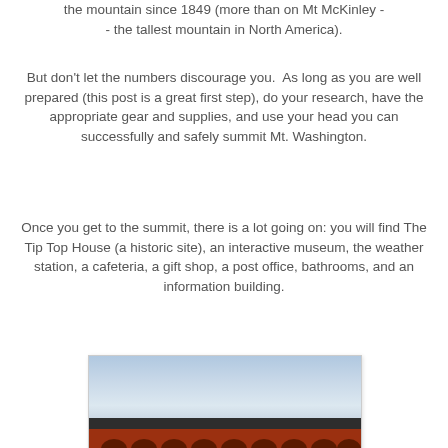the mountain since 1849 (more than on Mt McKinley -- the tallest mountain in North America).
But don't let the numbers discourage you.  As long as you are well prepared (this post is a great first step), do your research, have the appropriate gear and supplies, and use your head you can successfully and safely summit Mt. Washington.
Once you get to the summit, there is a lot going on: you will find The Tip Top House (a historic site), an interactive museum, the weather station, a cafeteria, a gift shop, a post office, bathrooms, and an information building.
[Figure (photo): Photo of a red brick building with arched windows against a cloudy sky, likely a summit building on Mt. Washington.]